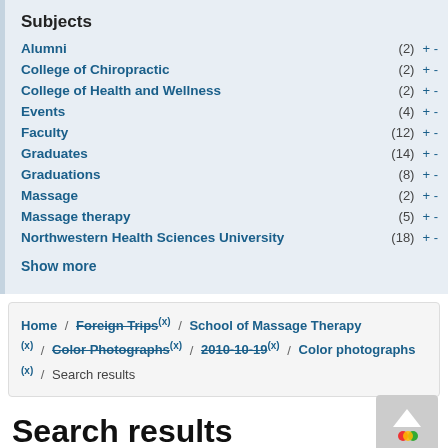Subjects
Alumni (2) + -
College of Chiropractic (2) + -
College of Health and Wellness (2) + -
Events (4) + -
Faculty (12) + -
Graduates (14) + -
Graduations (8) + -
Massage (2) + -
Massage therapy (5) + -
Northwestern Health Sciences University (18) + -
Show more
Home / Foreign Trips (x) / School of Massage Therapy (x) / Color Photographs (x) / 2010-10-19 (x) / Color photographs (x) / Search results
Search results
(1 - 20 of 49)